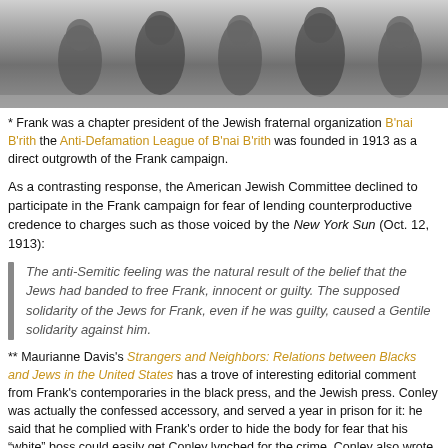[Figure (photo): Black and white historical photograph showing a group of people, cropped at top of page]
* Frank was a chapter president of the Jewish fraternal organization B'nai B'rith the Anti-Defamation League of B'nai B'rith was founded in 1913 as a direct outgrowth of the Frank campaign.
As a contrasting response, the American Jewish Committee declined to participate in the Frank campaign for fear of lending counterproductive credence to charges such as those voiced by the New York Sun (Oct. 12, 1913):
The anti-Semitic feeling was the natural result of the belief that the Jews had banded to free Frank, innocent or guilty. The supposed solidarity of the Jews for Frank, even if he was guilty, caused a Gentile solidarity against him.
** Maurianne Davis's Strangers and Neighbors: Relations between Blacks and Jews in the United States has a trove of interesting editorial comment from Frank's contemporaries in the black press, and the Jewish press. Conley was actually the confessed accessory, and served a year in prison for it: he said that he complied with Frank's order to hide the body for fear that his “white” boss could easily get Conley lynched for the crime. Conley also wrote (under Frank's directive, he said) the preposterous “murder notes” found with the body that purported to be Mary Phagan's dying indictment of Newt Lee, the African-American night watchman.
† The allusion to political suicide suggests Slaton's mind was on the preceden